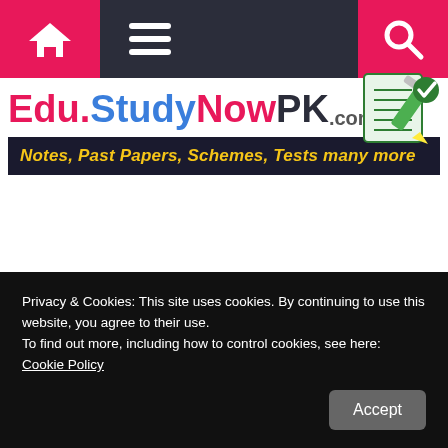Edu.StudyNowPK.com — Notes, Past Papers, Schemes, Tests many more
[Figure (logo): Edu.StudyNowPK.com logo with tagline bar 'Notes, Past Papers, Schemes, Tests many more' and pencil/notepad icon]
Privacy & Cookies: This site uses cookies. By continuing to use this website, you agree to their use. To find out more, including how to control cookies, see here: Cookie Policy
Accept